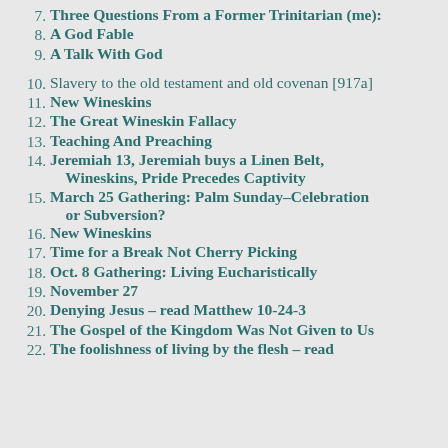7. Three Questions From a Former Trinitarian (me):
8. A God Fable
9. A Talk With God
10. Slavery to the old testament and old covenan [917a]
11. New Wineskins
12. The Great Wineskin Fallacy
13. Teaching And Preaching
14. Jeremiah 13, Jeremiah buys a Linen Belt, Wineskins, Pride Precedes Captivity
15. March 25 Gathering: Palm Sunday–Celebration or Subversion?
16. New Wineskins
17. Time for a Break Not Cherry Picking
18. Oct. 8 Gathering: Living Eucharistically
19. November 27
20. Denying Jesus – read Matthew 10-24-3
21. The Gospel of the Kingdom Was Not Given to Us
22. The foolishness of living by the flesh – read